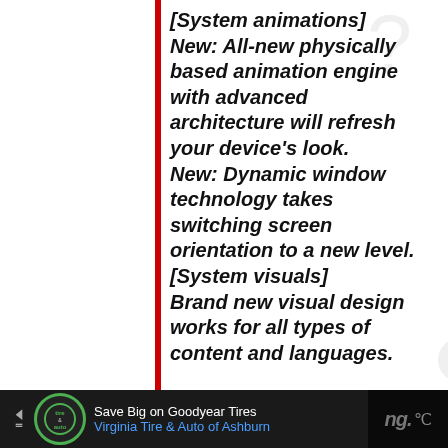[System animations] New: All-new physically based animation engine with advanced architecture will refresh your device's look. New: Dynamic window technology takes switching screen orientation to a new level. [System visuals] Brand new visual design works for all types of content and languages.
[Figure (other): Like button (heart icon) in red circle with count of 1, and share button below]
[Figure (other): Advertisement bar: Save Big on Goodyear Tires - Virginia Tire & Auto of Ashburn]